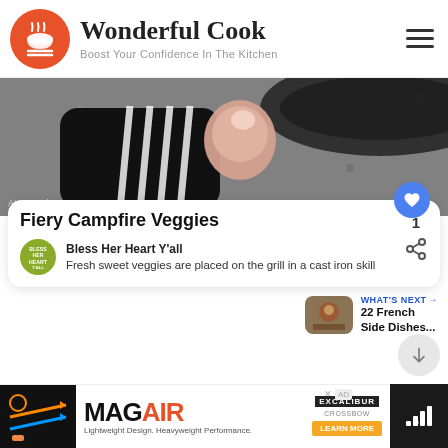Wonderful Cook — Boost Your Confidence In The Kitchen
[Figure (photo): Close-up photo of a striped black and white oven mitt holding a cast iron skillet handle, placed on a stone/concrete surface. Watermark text: AHotSouthernMess.com]
Fiery Campfire Veggies
Bless Her Heart Y'all
Fresh sweet veggies are placed on the grill in a cast iron skill
WHAT'S NEXT → 22 French Side Dishes...
[Figure (photo): Thumbnail of French side dishes food photo]
[Figure (other): Advertisement banner: MAGAIR — Lightweight Design. Heavyweight Performance. with Excalibur crossbow logo and LEARN MORE button]